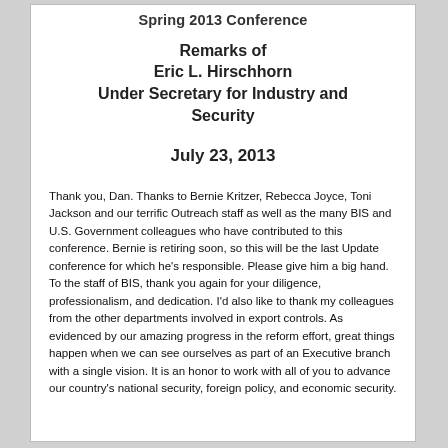Spring 2013 Conference
Remarks of
Eric L. Hirschhorn
Under Secretary for Industry and Security
July 23, 2013
Thank you, Dan. Thanks to Bernie Kritzer, Rebecca Joyce, Toni Jackson and our terrific Outreach staff as well as the many BIS and U.S. Government colleagues who have contributed to this conference. Bernie is retiring soon, so this will be the last Update conference for which he's responsible. Please give him a big hand.
To the staff of BIS, thank you again for your diligence, professionalism, and dedication. I'd also like to thank my colleagues from the other departments involved in export controls. As evidenced by our amazing progress in the reform effort, great things happen when we can see ourselves as part of an Executive branch with a single vision. It is an honor to work with all of you to advance our country's national security, foreign policy, and economic security.